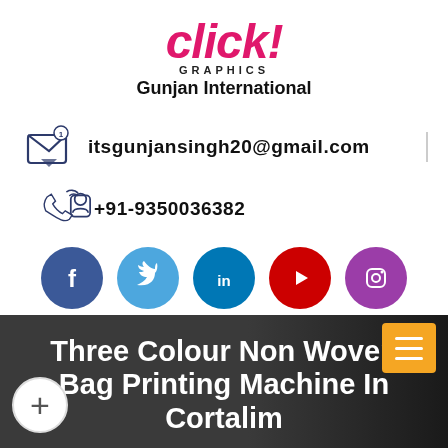[Figure (logo): Click! Graphics - Gunjan International logo with pink/magenta italic 'click!' text, 'GRAPHICS' subtitle, and 'Gunjan International' company name]
itsgunjansingh20@gmail.com
+91-9350036382
[Figure (infographic): Row of five social media icons: Facebook (blue), Twitter (light blue), LinkedIn (dark blue), YouTube (red), Instagram (purple gradient)]
Three Colour Non Woven Bag Printing Machine In Cortalim